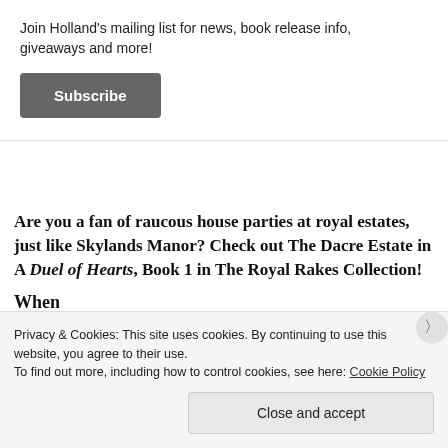Join Holland's mailing list for news, book release info, giveaways and more!
Subscribe
Are you a fan of raucous house parties at royal estates, just like Skylands Manor? Check out The Dacre Estate in A Duel of Hearts, Book 1 in The Royal Rakes Collection!
When
[Figure (photo): Partial view of a book cover showing architectural stained glass window with warm lighting and dark silhouette]
Privacy & Cookies: This site uses cookies. By continuing to use this website, you agree to their use.
To find out more, including how to control cookies, see here: Cookie Policy
Close and accept